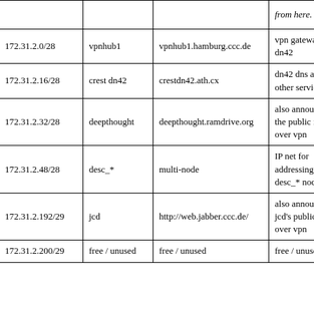|  |  |  | from here. |  |
| --- | --- | --- | --- | --- |
| 172.31.2.0/28 | vpnhub1 | vpnhub1.hamburg.ccc.de | vpn gateway to dn42 | 172 |
| 172.31.2.16/28 | crest dn42 | crestdn42.ath.cx | dn42 dns and other services | 172 |
| 172.31.2.32/28 | deepthought | deepthought.ramdrive.org | also announces the public ips over vpn | 172 |
| 172.31.2.48/28 | desc_* | multi-node | IP net for addressing desc_* nodes | 172 |
| 172.31.2.192/29 | jcd | http://web.jabber.ccc.de/ | also announces jcd's public ips over vpn | 172 |
| 172.31.2.200/29 | free / unused | free / unused | free / unused | free |